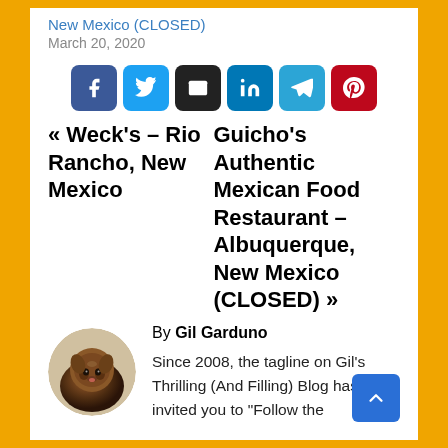New Mexico (CLOSED)
March 20, 2020
[Figure (infographic): Social share buttons: Facebook, Twitter, Email, LinkedIn, Telegram, Pinterest]
« Weck's – Rio Rancho, New Mexico   Guicho's Authentic Mexican Food Restaurant – Albuquerque, New Mexico (CLOSED) »
[Figure (photo): Circular avatar photo of a small dog (appears to be a dark-furred terrier mix)]
By Gil Garduno
Since 2008, the tagline on Gil's Thrilling (And Filling) Blog has invited you to "Follow the